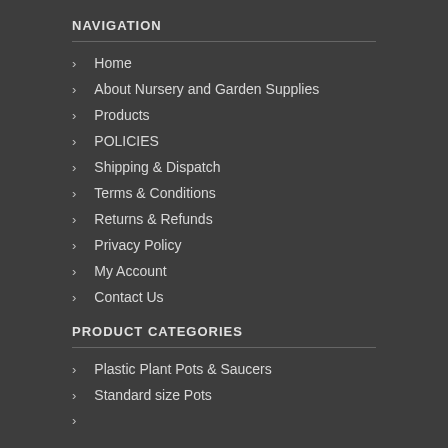NAVIGATION
Home
About Nursery and Garden Supplies
Products
POLICIES
Shipping & Dispatch
Terms & Conditions
Returns & Refunds
Privacy Policy
My Account
Contact Us
PRODUCT CATEGORIES
Plastic Plant Pots & Saucers
Standard size Pots